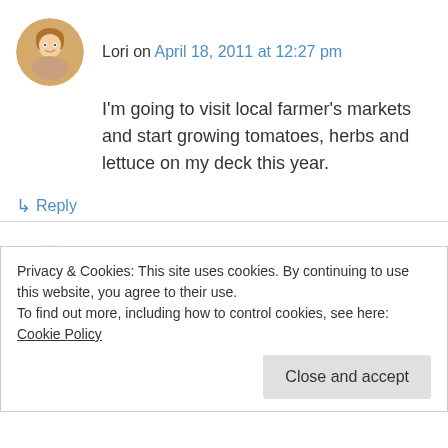[Figure (photo): Round avatar photo of a woman with blonde hair]
Lori on April 18, 2011 at 12:27 pm
I'm going to visit local farmer's markets and start growing tomatoes, herbs and lettuce on my deck this year.
↳ Reply
[Figure (illustration): Round avatar with orange decorative snowflake/geometric pattern]
Barb on April 18, 2011 at 1:19 pm
Hi! What a great give away. We love going to our local farmers market in the summer for fresh
Privacy & Cookies: This site uses cookies. By continuing to use this website, you agree to their use.
To find out more, including how to control cookies, see here: Cookie Policy
Close and accept